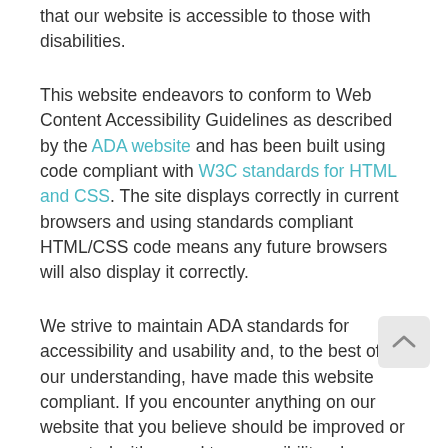that our website is accessible to those with disabilities.
This website endeavors to conform to Web Content Accessibility Guidelines as described by the ADA website and has been built using code compliant with W3C standards for HTML and CSS. The site displays correctly in current browsers and using standards compliant HTML/CSS code means any future browsers will also display it correctly.
We strive to maintain ADA standards for accessibility and usability and, to the best of our understanding, have made this website compliant. If you encounter anything on our website that you believe should be improved or corrected with regard to accessibility, please contact us immediately and we'll make every effort to address the...